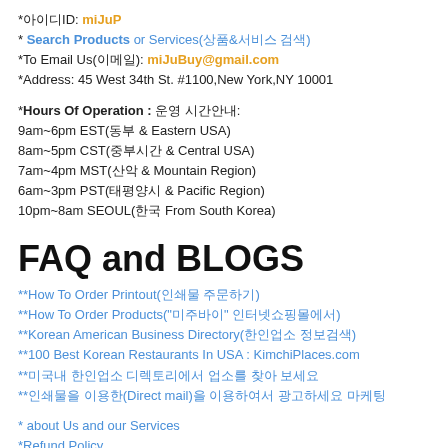*아이디ID: miJuP
* Search Products or Services(상품&서비스 검색)
*To Email Us(이메일): miJuBuy@gmail.com
*Address: 45 West 34th St. #1100,New York,NY 10001
*Hours Of Operation : 운영 시간안내:
9am~6pm EST(동부 & Eastern USA)
8am~5pm CST(중부시간 & Central USA)
7am~4pm MST(산악 & Mountain Region)
6am~3pm PST(태평양시 & Pacific Region)
10pm~8am SEOUL(한국 From South Korea)
FAQ and BLOGS
**How To Order Printout(인쇄물 주문하기)
**How To Order Products("미주바이" 인터넷쇼핑몰에서)
**Korean American Business Directory(한인업소 정보검색)
**100 Best Korean Restaurants In USA : KimchiPlaces.com
**미국내 한인업소 디렉토리에서 업소를 찾아 보세요
**인쇄물을 이용한(Direct mail)을 이용하여서 광고하세요 마케팅
* about Us and our Services
*Refund Policy